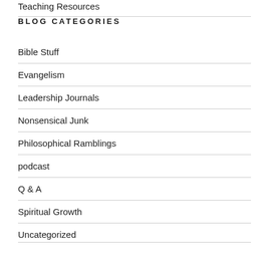Teaching Resources
BLOG CATEGORIES
Bible Stuff
Evangelism
Leadership Journals
Nonsensical Junk
Philosophical Ramblings
podcast
Q & A
Spiritual Growth
Uncategorized